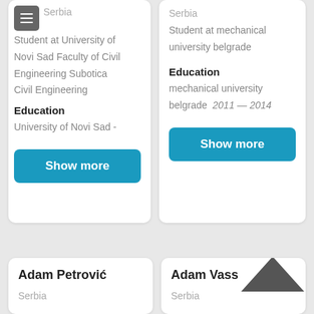Serbia
Student at University of Novi Sad Faculty of Civil Engineering Subotica Civil Engineering
Education
University of Novi Sad -
Show more
Serbia
Student at mechanical university belgrade
Education
mechanical university belgrade   2011 — 2014
Show more
Adam Petrović
Serbia
Adam Vass
Serbia